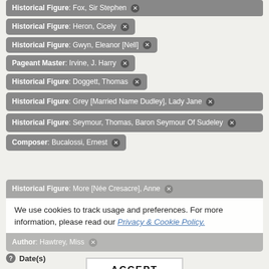Historical Figure: Fox, Sir Stephen ✕
Historical Figure: Heron, Cicely ✕
Historical Figure: Gwyn, Eleanor [Nell] ✕
Pageant Master: Irvine, J. Harry ✕
Historical Figure: Doggett, Thomas ✕
Historical Figure: Grey [Married Name Dudley], Lady Jane ✕
Historical Figure: Seymour, Thomas, Baron Seymour Of Sudeley ✕
Composer: Bucalossi, Ernest ✕
Historical Figure: More [Née Cresacre], Anne ✕
Historical Figure: [partially hidden]
Author: Hawtrey, Miss ✕
We use cookies to track usage and preferences. For more information, please read our Privacy & Cookie Policy.
ACCEPT
Date(s)